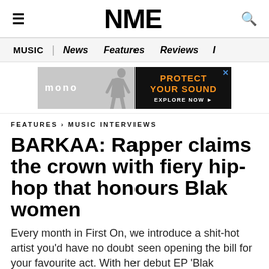NME
MUSIC | News  Features  Reviews  I
[Figure (other): mono brand advertisement banner: left side shows 'mono' logo with figure, right side black background with orange text 'PROTECT YOUR SOUND' and white 'EXPLORE NOW' button]
FEATURES › MUSIC INTERVIEWS
BARKAA: Rapper claims the crown with fiery hip-hop that honours Blak women
Every month in First On, we introduce a shit-hot artist you'd have no doubt seen opening the bill for your favourite act. With her debut EP 'Blak Matriarchy', Malyangana, Barkindji